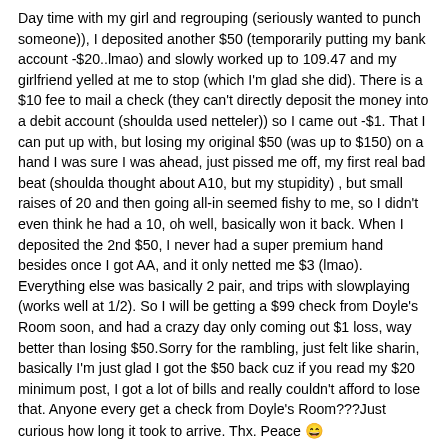Day time with my girl and regrouping (seriously wanted to punch someone)), I deposited another $50 (temporarily putting my bank account -$20..lmao) and slowly worked up to 109.47 and my girlfriend yelled at me to stop (which I'm glad she did). There is a $10 fee to mail a check (they can't directly deposit the money into a debit account (shoulda used netteler)) so I came out -$1. That I can put up with, but losing my original $50 (was up to $150) on a hand I was sure I was ahead, just pissed me off, my first real bad beat (shoulda thought about A10, but my stupidity) , but small raises of 20 and then going all-in seemed fishy to me, so I didn't even think he had a 10, oh well, basically won it back. When I deposited the 2nd $50, I never had a super premium hand besides once I got AA, and it only netted me $3 (lmao). Everything else was basically 2 pair, and trips with slowplaying (works well at 1/2). So I will be getting a $99 check from Doyle's Room soon, and had a crazy day only coming out $1 loss, way better than losing $50.Sorry for the rambling, just felt like sharin, basically I'm just glad I got the $50 back cuz if you read my $20 minimum post, I got a lot of bills and really couldn't afford to lose that. Anyone every get a check from Doyle's Room???Just curious how long it took to arrive. Thx. Peace 😄